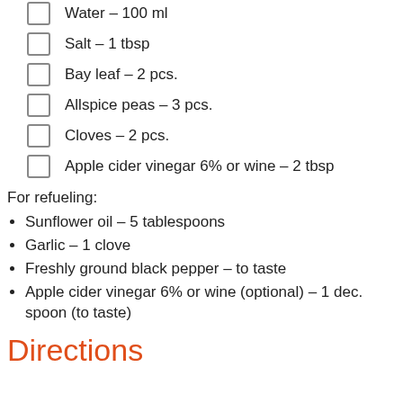Water – 100 ml (partially visible at top)
Salt – 1 tbsp
Bay leaf – 2 pcs.
Allspice peas – 3 pcs.
Cloves – 2 pcs.
Apple cider vinegar 6% or wine – 2 tbsp
For refueling:
Sunflower oil – 5 tablespoons
Garlic – 1 clove
Freshly ground black pepper – to taste
Apple cider vinegar 6% or wine (optional) – 1 dec. spoon (to taste)
Directions